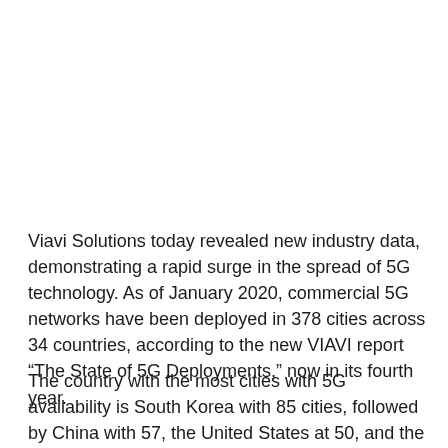Viavi Solutions today revealed new industry data, demonstrating a rapid surge in the spread of 5G technology. As of January 2020, commercial 5G networks have been deployed in 378 cities across 34 countries, according to the new VIAVI report “The State of 5G Deployments,” now in its fourth year.
The country with the most cities with 5G availability is South Korea with 85 cities, followed by China with 57, the United States at 50, and the U.K. with 31 cities. In terms of regional coverage, EMEA leads the way with 168 cities where 5G